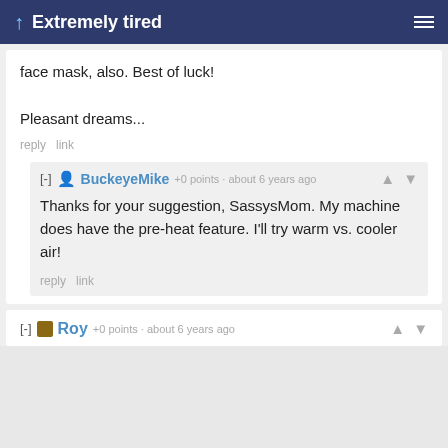Extremely tired
face mask, also. Best of luck!

Pleasant dreams...
reply link
[-] BuckeyeMike +0 points · about 6 years ago
Thanks for your suggestion, SassysMom. My machine does have the pre-heat feature. I'll try warm vs. cooler air!
reply link
[-] Roy +0 points · about 6 years ago